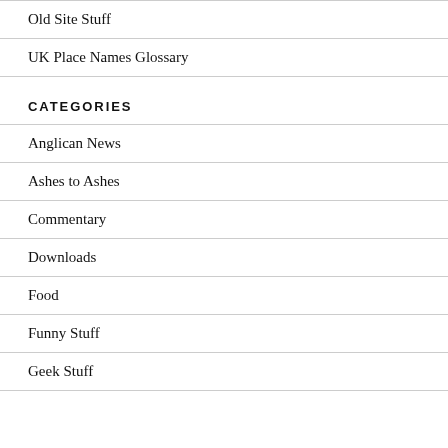Old Site Stuff
UK Place Names Glossary
CATEGORIES
Anglican News
Ashes to Ashes
Commentary
Downloads
Food
Funny Stuff
Geek Stuff